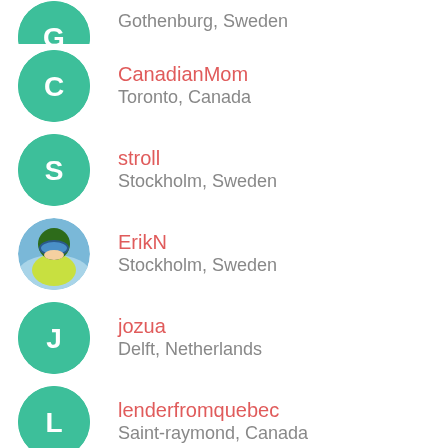Gothenburg, Sweden
CanadianMom
Toronto, Canada
stroll
Stockholm, Sweden
ErikN
Stockholm, Sweden
jozua
Delft, Netherlands
lenderfromquebec
Saint-raymond, Canada